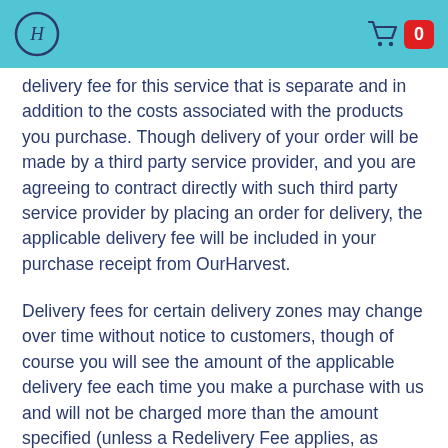OurHarvest logo and cart with 0 items
delivery fee for this service that is separate and in addition to the costs associated with the products you purchase. Though delivery of your order will be made by a third party service provider, and you are agreeing to contract directly with such third party service provider by placing an order for delivery, the applicable delivery fee will be included in your purchase receipt from OurHarvest.
Delivery fees for certain delivery zones may change over time without notice to customers, though of course you will see the amount of the applicable delivery fee each time you make a purchase with us and will not be charged more than the amount specified (unless a Redelivery Fee applies, as outlined further above). Delivery fees may be different amounts in different delivery zones, and OurHarvest reserves the right to